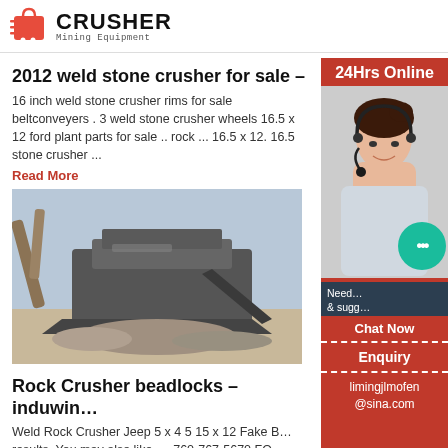[Figure (logo): Crusher Mining Equipment logo with red shopping bag icon and bold black CRUSHER text]
2012 weld stone crusher for sale -
16 inch weld stone crusher rims for sale beltconveyers . 3 weld stone crusher wheels 16.5 x 12 ford plant parts for sale .. rock ... 16.5 x 12. 16.5 stone crusher ...
Read More
[Figure (photo): Photo of rock crusher machinery at a quarry site with excavator and large crushing equipment]
Rock Crusher beadlocks - induwin…
Weld Rock Crusher Jeep 5 x 4 5 15 x 12 Fake B… results. You may also like. ... 760-767-5670 FO… pair of new Rock Crusher 16" aluminum rims.
Read More
[Figure (photo): 24Hrs Online sidebar with customer service representative wearing headset]
Need… & sugg… Chat Now
Enquiry
limingjlmofen@sina.com